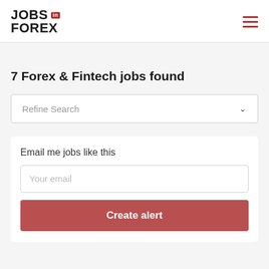JOBS in FOREX
7 Forex & Fintech jobs found
Refine Search
Email me jobs like this
Your email
Create alert